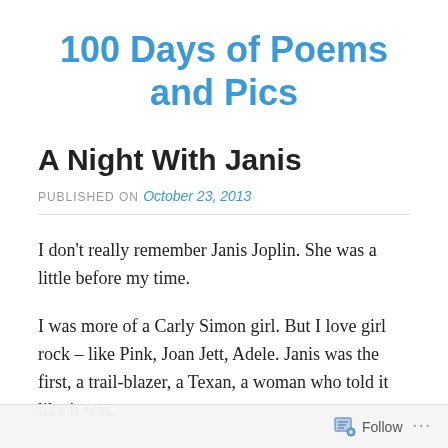100 Days of Poems and Pics
A Night With Janis
PUBLISHED ON October 23, 2013
I don't really remember Janis Joplin. She was a little before my time.
I was more of a Carly Simon girl. But I love girl rock – like Pink, Joan Jett, Adele. Janis was the first, a trail-blazer, a Texan, a woman who told it like it was.
Follow